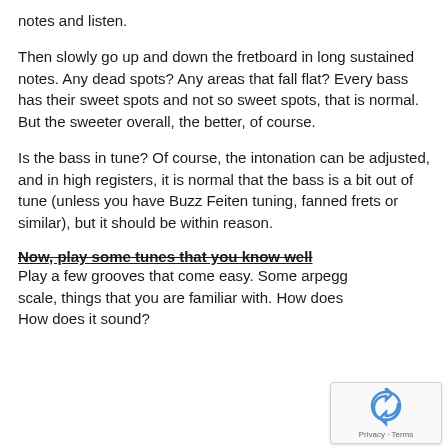notes and listen.
Then slowly go up and down the fretboard in long sustained notes. Any dead spots? Any areas that fall flat? Every bass has their sweet spots and not so sweet spots, that is normal. But the sweeter overall, the better, of course.
Is the bass in tune? Of course, the intonation can be adjusted, and in high registers, it is normal that the bass is a bit out of tune (unless you have Buzz Feiten tuning, fanned frets or similar), but it should be within reason.
Now, play some tunes that you know well
Play a few grooves that come easy. Some arpegg... scale, things that you are familiar with. How does... How does it sound?